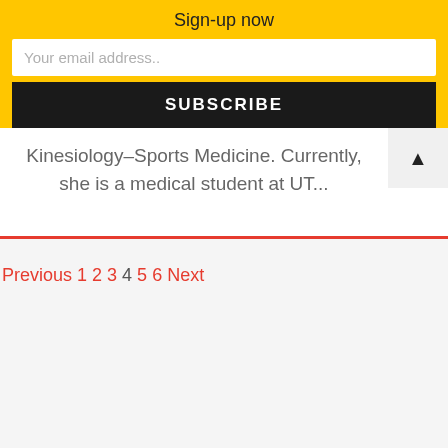Sign-up now
Your email address..
SUBSCRIBE
Kinesiology-Sports Medicine. Currently, she is a medical student at UT...
Previous 1 2 3 4 5 6 Next